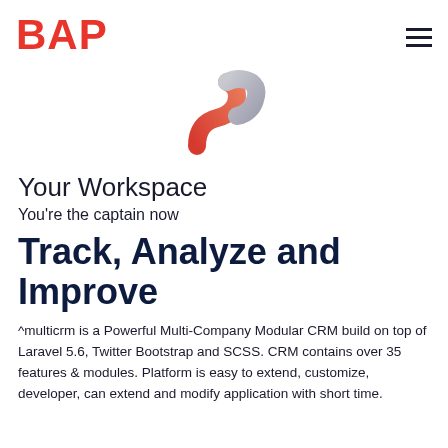BAP
[Figure (logo): Abstract squiggly connector icon in red-orange and gray gradient, resembling a stylized wire or path shape]
Your Workspace
You're the captain now
Track, Analyze and Improve
^multicrm is a Powerful Multi-Company Modular CRM build on top of Laravel 5.6, Twitter Bootstrap and SCSS. CRM contains over 35 features & modules. Platform is easy to extend, customize, developer, can extend and modify application with short time.